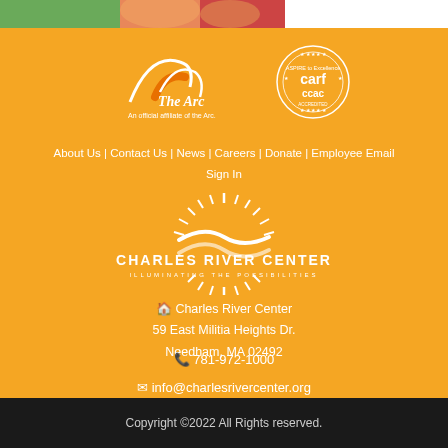[Figure (photo): Partial photo at top showing people, cropped at top of page]
[Figure (logo): The Arc logo - An official affiliate of the Arc.]
[Figure (logo): CARF/CCAC accreditation seal]
About Us | Contact Us | News | Careers | Donate | Employee Email Sign In
[Figure (logo): Charles River Center logo - Illuminating the Possibilities]
Charles River Center 59 East Militia Heights Dr. Needham, MA 02492
781-972-1000
info@charlesrivercenter.org
Copyright ©2022 All Rights reserved.